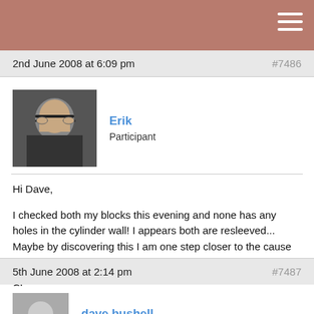2nd June 2008 at 6:09 pm   #7486
[Figure (photo): Profile photo of Erik, a man wearing glasses]
Erik
Participant
Hi Dave,

I checked both my blocks this evening and none has any holes in the cylinder wall! I appears both are resleeved... Maybe by discovering this I am one step closer to the cause of my engine blowup of last year...

Cheers,
Erik
5th June 2008 at 2:14 pm   #7487
[Figure (photo): Avatar placeholder for dave bushell]
dave bushell
Participant